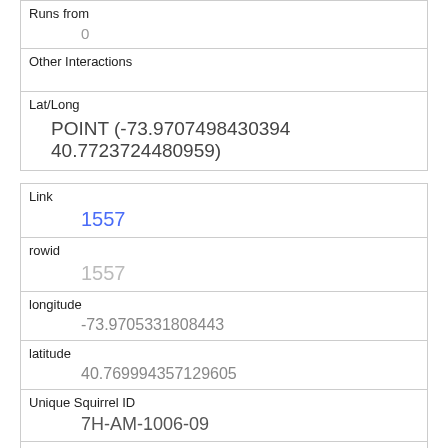| Runs from | 0 |
| Other Interactions |  |
| Lat/Long | POINT (-73.9707498430394 40.7723724480959) |
| Link | 1557 |
| rowid | 1557 |
| longitude | -73.9705331808443 |
| latitude | 40.769994357129605 |
| Unique Squirrel ID | 7H-AM-1006-09 |
| Hectare | 07H |
| Shift | AM |